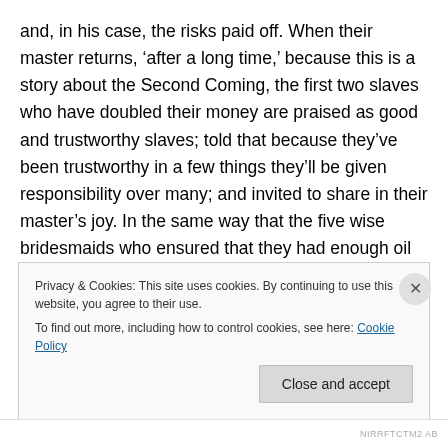and, in his case, the risks paid off. When their master returns, ‘after a long time,’ because this is a story about the Second Coming, the first two slaves who have doubled their money are praised as good and trustworthy slaves; told that because they’ve been trustworthy in a few things they’ll be given responsibility over many; and invited to share in their master’s joy. In the same way that the five wise bridesmaids who ensured that they had enough oil for a long wait shared a wedding feast with the bridegroom, these two wise slaves will celebrate with their
Privacy & Cookies: This site uses cookies. By continuing to use this website, you agree to their use.
To find out more, including how to control cookies, see here: Cookie Policy
NIRRFTCTM2 AB